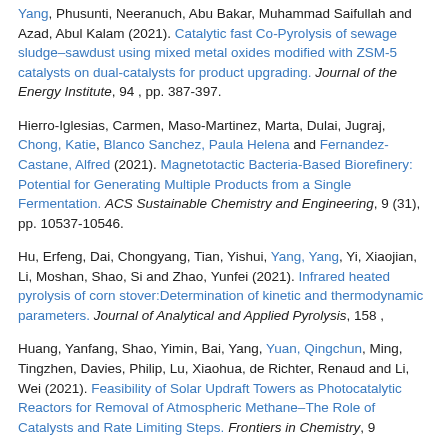Yang, Phusunti, Neeranuch, Abu Bakar, Muhammad Saifullah and Azad, Abul Kalam (2021). Catalytic fast Co-Pyrolysis of sewage sludge–sawdust using mixed metal oxides modified with ZSM-5 catalysts on dual-catalysts for product upgrading. Journal of the Energy Institute, 94 , pp. 387-397.
Hierro-Iglesias, Carmen, Maso-Martinez, Marta, Dulai, Jugraj, Chong, Katie, Blanco Sanchez, Paula Helena and Fernandez-Castane, Alfred (2021). Magnetotactic Bacteria-Based Biorefinery: Potential for Generating Multiple Products from a Single Fermentation. ACS Sustainable Chemistry and Engineering, 9 (31), pp. 10537-10546.
Hu, Erfeng, Dai, Chongyang, Tian, Yishui, Yang, Yang, Yi, Xiaojian, Li, Moshan, Shao, Si and Zhao, Yunfei (2021). Infrared heated pyrolysis of corn stover:Determination of kinetic and thermodynamic parameters. Journal of Analytical and Applied Pyrolysis, 158 ,
Huang, Yanfang, Shao, Yimin, Bai, Yang, Yuan, Qingchun, Ming, Tingzhen, Davies, Philip, Lu, Xiaohua, de Richter, Renaud and Li, Wei (2021). Feasibility of Solar Updraft Towers as Photocatalytic Reactors for Removal of Atmospheric Methane–The Role of Catalysts and Rate Limiting Steps. Frontiers in Chemistry, 9